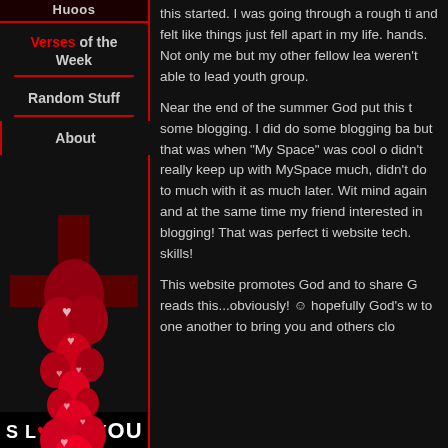Huoos
Verses of the Week
Random Stuff
About
S LOVES YOU
this started. I was going through a rough ti and felt like things just fell apart in my life. hands. Not only me but my other fellow lea weren't able to lead youth group.
Near the end of the summer God put this t some blogging. I did do some blogging ba but that was when "My Space" was cool o didn't really keep up with MySpace much, didn't do to much with it as much later. Wit mind again and at the same time my friend interested in blogging! That was perfect ti website tech. skills!
This website promotes God and to share G reads this...obviously!   hopefully God's w to one another to bring you and others clo